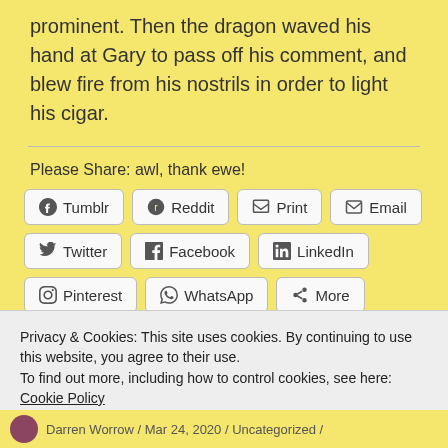prominent. Then the dragon waved his hand at Gary to pass off his comment, and blew fire from his nostrils in order to light his cigar.
Please Share: awl, thank ewe!
Tumblr | Reddit | Print | Email | Twitter | Facebook | LinkedIn | Pinterest | WhatsApp | More
Privacy & Cookies: This site uses cookies. By continuing to use this website, you agree to their use.
To find out more, including how to control cookies, see here: Cookie Policy
Darren Worrow / Mar 24, 2020 / Uncategorized /